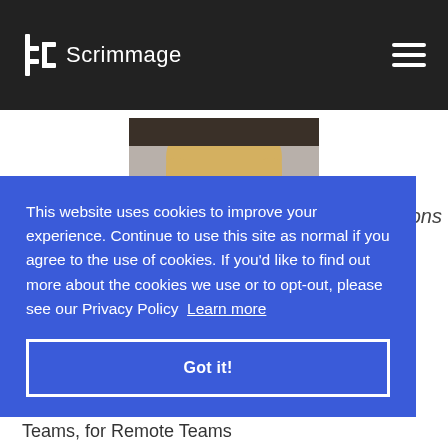Scrimmage
[Figure (photo): Headshot of a blonde woman smiling, cropped to show face and shoulders]
Sh... St... [LinkedIn icon] ions
This website uses cookies to improve your experience. Continue to use this site as normal if you agree to the use of cookies. If you'd like to find out more about the cookies we use or to opt-out, please see our Privacy Policy  Learn more
Got it!
Teams, for Remote Teams